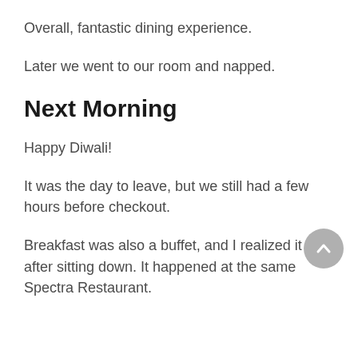Overall, fantastic dining experience.
Later we went to our room and napped.
Next Morning
Happy Diwali!
It was the day to leave, but we still had a few hours before checkout.
Breakfast was also a buffet, and I realized it after sitting down. It happened at the same Spectra Restaurant.